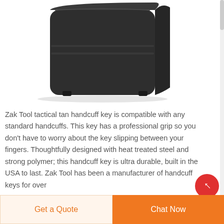[Figure (photo): Product photo of a dark gray/black rectangular device (Zak Tool tactical handcuff key enclosure), viewed from a three-quarter angle showing the front and side. The device has rubber feet on the bottom and horizontal accent lines on the front face.]
Zak Tool tactical tan handcuff key is compatible with any standard handcuffs. This key has a professional grip so you don't have to worry about the key slipping between your fingers. Thoughtfully designed with heat treated steel and strong polymer; this handcuff key is ultra durable, built in the USA to last. Zak Tool has been a manufacturer of handcuff keys for over
Get a Quote
Chat Now